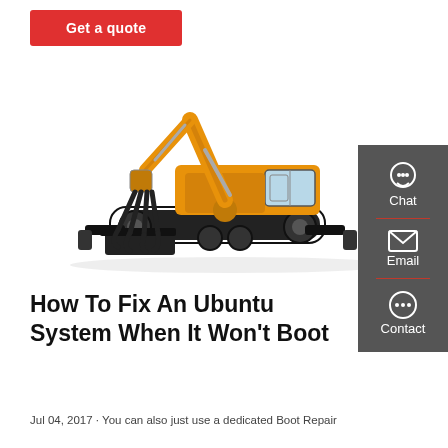[Figure (other): Red 'Get a quote' button]
[Figure (photo): Yellow wheeled excavator with grapple attachment on white background]
[Figure (other): Dark gray sidebar with Chat, Email, and Contact icons]
How To Fix An Ubuntu System When It Won't Boot
Jul 04, 2017 · You can also just use a dedicated Boot Repair